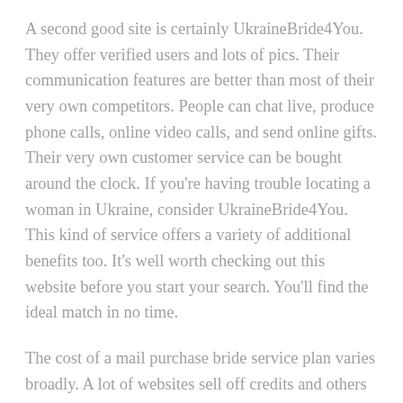A second good site is certainly UkraineBride4You. They offer verified users and lots of pics. Their communication features are better than most of their very own competitors. People can chat live, produce phone calls, online video calls, and send online gifts. Their very own customer service can be bought around the clock. If you're having trouble locating a woman in Ukraine, consider UkraineBride4You. This kind of service offers a variety of additional benefits too. It's well worth checking out this website before you start your search. You'll find the ideal match in no time.
The cost of a mail purchase bride service plan varies broadly. A lot of websites sell off credits and others price a monthly advanced membership. Payment policies change, but many men seeking a mail order bride use between hundred buck and $1200 per